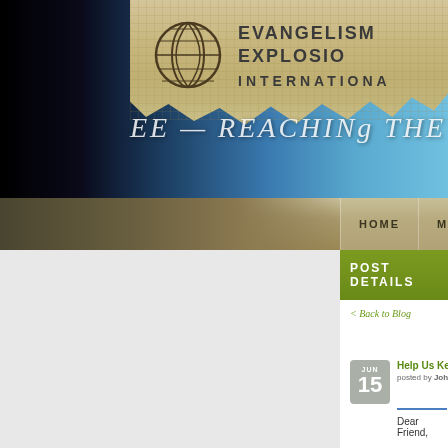[Figure (screenshot): Evangelism Explosion International website screenshot showing header with burlap banner, globe logo, organization name, tagline 'EE — Reaching the W...', navigation bar with HOME, MINISTRIES, TRAINING, POST DETAILS section, Back to Blog link, and a blog post dated JUN 15 titled 'Help Us Keep Online Events Free' posted by John Sorensen on Jun 15, 2020, beginning with 'Dear Friend,']